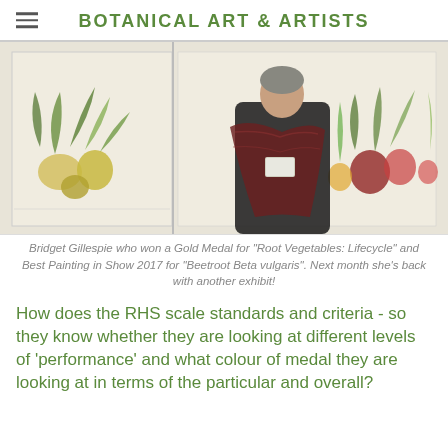BOTANICAL ART & ARTISTS
[Figure (photo): Bridget Gillespie standing in front of botanical paintings of root vegetables at an exhibition]
Bridget Gillespie who won a Gold Medal for "Root Vegetables: Lifecycle" and Best Painting in Show 2017 for "Beetroot Beta vulgaris". Next month she's back with another exhibit!
How does the RHS scale standards and criteria - so they know whether they are looking at different levels of 'performance' and what colour of medal they are looking at in terms of the particular and overall?